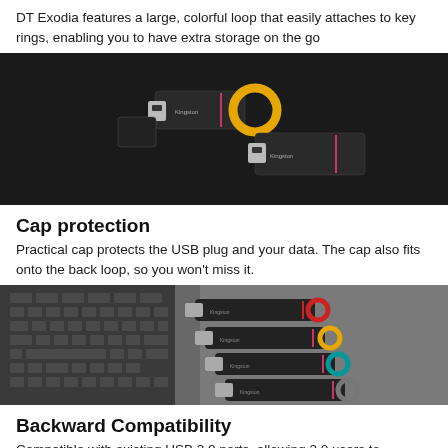DT Exodia features a large, colorful loop that easily attaches to key rings, enabling you to have extra storage on the go
[Figure (photo): Two Kingston DT Exodia USB flash drives on a dark background — one with yellow loop and cap removed, one without cap]
Cap protection
Practical cap protects the USB plug and your data. The cap also fits onto the back loop, so you won't miss it.
[Figure (photo): Four Kingston DT Exodia USB flash drives with different colored loops (red, yellow, teal, grey) next to a laptop keyboard on a grey surface]
Backward Compatibility
Compatible with existing USB 2.0 ports, allowing 2.0 users to